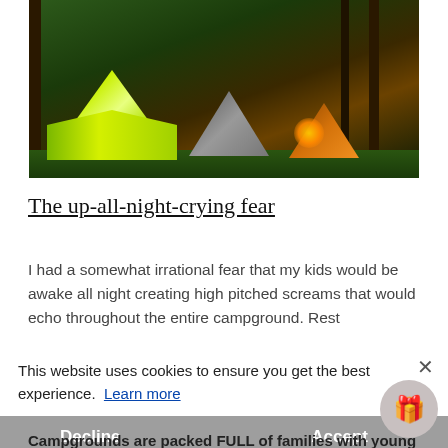[Figure (photo): Nighttime camping scene with glowing green tent in foreground, white and orange tents in background, tall trees, and campfire glow in a dark forest.]
The up-all-night-crying fear
I had a somewhat irrational fear that my kids would be awake all night creating high pitched screams that would echo throughout the entire campground. Rest
This website uses cookies to ensure you get the best experience.  Learn more
Decline
Accept
Campgrounds are packed FULL of families with young